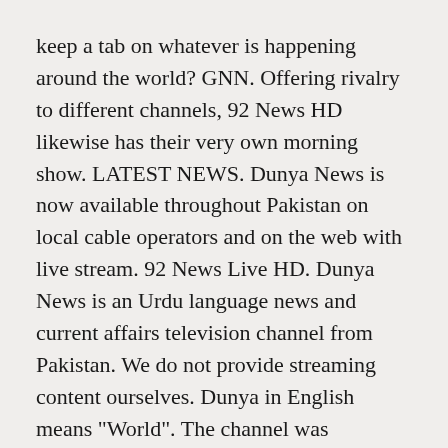keep a tab on whatever is happening around the world? GNN. Offering rivalry to different channels, 92 News HD likewise has their very own morning show. LATEST NEWS. Dunya News is now available throughout Pakistan on local cable operators and on the web with live stream. 92 News Live HD. Dunya News is an Urdu language news and current affairs television channel from Pakistan. We do not provide streaming content ourselves. Dunya in English means "World". The channel was launched in 2018. BBC News, اردو - صفح  اول  ریپ ک  خلاف صدارتی آرڈیننس: Top story - Urdu :  کیمیکل کیسٹریشن کی سزا پر عمل کیس   و گا؟ 150K. Live Tv Urdu News Streaming free